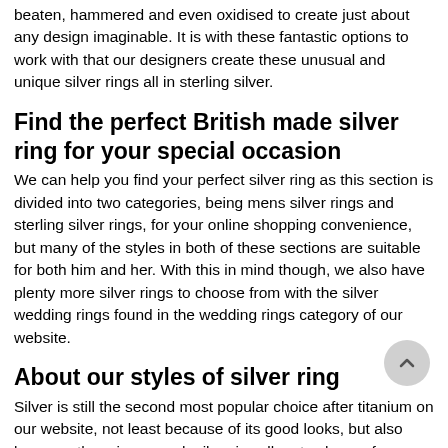beaten, hammered and even oxidised to create just about any design imaginable. It is with these fantastic options to work with that our designers create these unusual and unique silver rings all in sterling silver.
Find the perfect British made silver ring for your special occasion
We can help you find your perfect silver ring as this section is divided into two categories, being mens silver rings and sterling silver rings, for your online shopping convenience, but many of the styles in both of these sections are suitable for both him and her. With this in mind though, we also have plenty more silver rings to choose from with the silver wedding rings found in the wedding rings category of our website.
About our styles of silver ring
Silver is still the second most popular choice after titanium on our website, not least because of its good looks, but also because there is so much silver jewellery to choose from, especially rings. These rings are very popular particularly with young people who often wear several